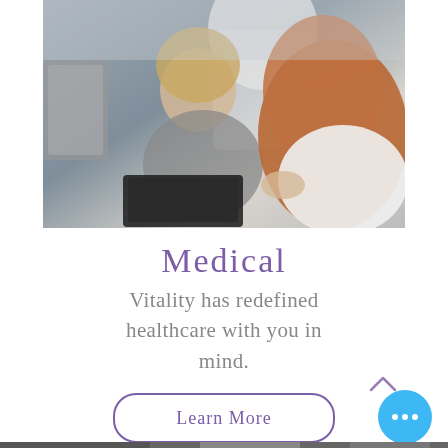[Figure (photo): A smiling blonde woman in a gray t-shirt sitting in a white medical/dental chair, with a laptop on her lap. In the foreground (right side, from behind) is a redheaded woman with wavy hair, presumably a healthcare provider, gesturing toward the patient. The setting is a clinical office with a tufted gray chair visible in the background.]
Medical
Vitality has redefined healthcare with you in mind.
Learn More
[Figure (other): Bottom strip/teaser of another image]